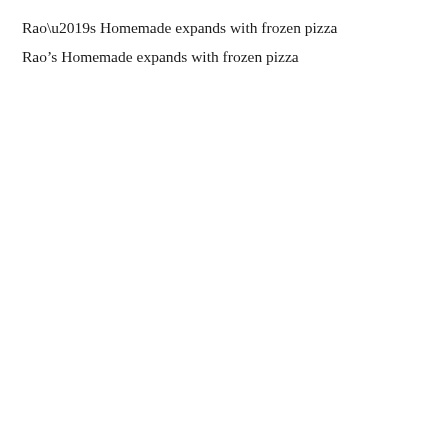Rao’s Homemade expands with frozen pizza
Science drives Smucker’s coffee strategy
POPULAR GALLERIES
[Figure (photo): Assorted packaged food products on a white background]
New on the shelves
Brands offer a helping hand to home cooks.
[Figure (photo): Green Giant Restaurant Style Cauliflower and Fire Roasted Onions with Garlic Butter frozen food package]
New on the shelves
Frozen offerings boast functional benefits, flavorful experiences.